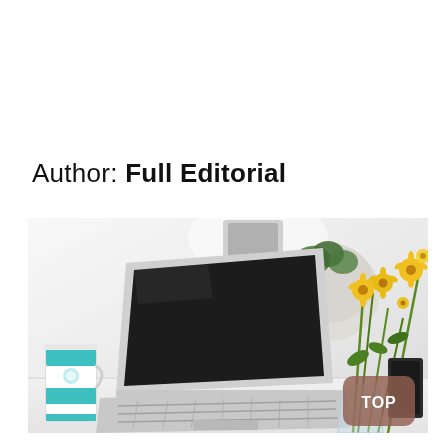Author: Full Editorial
[Figure (photo): A white laptop open on a bright desk with a teal-patterned coffee cup to the left, yellow flowers in a glass vase on the right, and a round planter in the background. A brown rounded-square 'TOP' button is overlaid in the bottom-right of the image.]